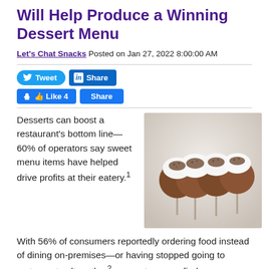Will Help Produce a Winning Dessert Menu
Let's Chat Snacks Posted on Jan 27, 2022 8:00:00 AM
[Figure (other): Social media sharing buttons: Tweet (Twitter), Share (LinkedIn), Like 4 (Facebook), Share (Facebook)]
Desserts can boost a restaurant's bottom line—60% of operators say sweet menu items have helped drive profits at their eatery.¹
[Figure (photo): Four chocolate cake pops with white cream tops dusted with chocolate shavings, on thin sticks, against a light background]
With 56% of consumers reportedly ordering food instead of dining on-premises—or having stopped going to restaurants altogether²—operators may find